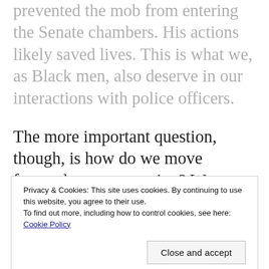prevented the mob from entering the Senate chambers. His actions likely saved lives. This is what we, as Black men, also deserve in our interactions with police officers.
The more important question, though, is how do we move forward now as a nation? We must focus not only on the people storming the Capitol but on the policies that have made two Americas possible. We must work to undo the laws and practices that enshrine inequality in this country.
Privacy & Cookies: This site uses cookies. By continuing to use this website, you agree to their use. To find out more, including how to control cookies, see here: Cookie Policy
Close and accept
acknowledge our nation's Black history month